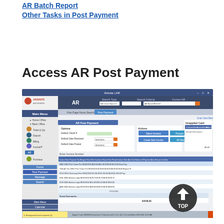AR Batch Report
Other Tasks in Post Payment
Access AR Post Payment
[Figure (screenshot): Screenshot of AR Post Payment module in Arisnte AR software showing the Main Menu on the left with options including Ticket & Qty, Deposit, Billing, Invoice/P, AR, Purchase. The main area shows AR Post Payment with Options section containing Default Check #, Default Date Received (8/04/2016), Default Date Posted (8/04/2016), Action buttons (Select Invoices, Process Payments, Create New Invoice, AR Batch Report), Unapplied Cash section, Enter Invoice Number section with a data table showing columns: Invoice Num, Payment Op, Merged, Check No, Customer Name, Date Posted, Invoice Date, Amt Due, Balance $, Payment Amo, Reason, Inv Date. Table rows show data for invoices including First Choice Pre entries, Greenway Direct, Arizona Legal entries. Grand Summaries shows $4448.00. Bottom status bar shows Support Code: RR0000, Environment: Production, v[25.1.2.3 | v[5.1.1.2], John/Bolen, 8/15/2016, 10:47 AM. A TOP navigation button appears in bottom-right corner.]